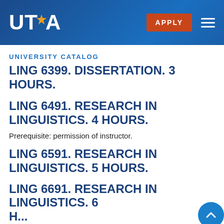[Figure (logo): UTA (University of Texas at Arlington) logo in white with star, on dark blue gradient header background, with orange APPLY button and hamburger menu icon]
UNIVERSITY CATALOG
LING 6399. DISSERTATION. 3 Hours.
LING 6491. RESEARCH IN LINGUISTICS. 4 Hours.
Prerequisite: permission of instructor.
LING 6591. RESEARCH IN LINGUISTICS. 5 Hours.
LING 6691. RESEARCH IN LINGUISTICS. 6 H...